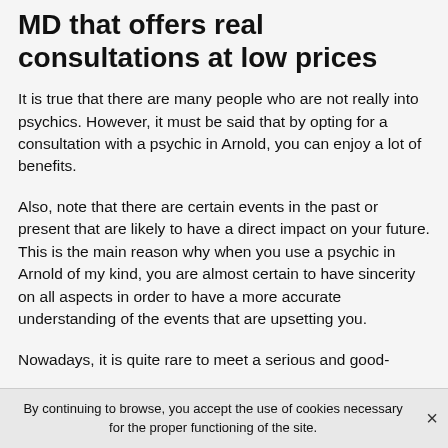MD that offers real consultations at low prices
It is true that there are many people who are not really into psychics. However, it must be said that by opting for a consultation with a psychic in Arnold, you can enjoy a lot of benefits.
Also, note that there are certain events in the past or present that are likely to have a direct impact on your future. This is the main reason why when you use a psychic in Arnold of my kind, you are almost certain to have sincerity on all aspects in order to have a more accurate understanding of the events that are upsetting you.
Nowadays, it is quite rare to meet a serious and good-
By continuing to browse, you accept the use of cookies necessary for the proper functioning of the site.